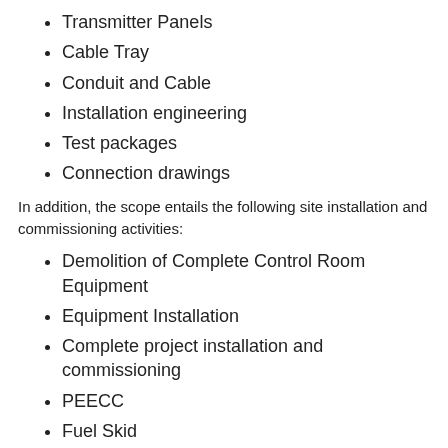Transmitter Panels
Cable Tray
Conduit and Cable
Installation engineering
Test packages
Connection drawings
In addition, the scope entails the following site installation and commissioning activities:
Demolition of Complete Control Room Equipment
Equipment Installation
Complete project installation and commissioning
PEECC
Fuel Skid
Compressors
Fuel Valves
Cable Tray
Conduit and Cable